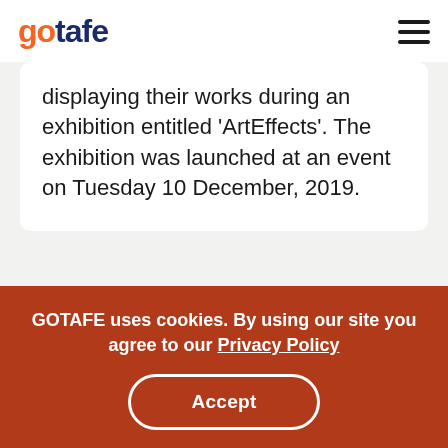gotafe
displaying their works during an exhibition entitled ‘ArtEffects’. The exhibition was launched at an event on Tuesday 10 December, 2019.
First  1  2  Last
GOTAFE uses cookies. By using our site you agree to our Privacy Policy
Accept